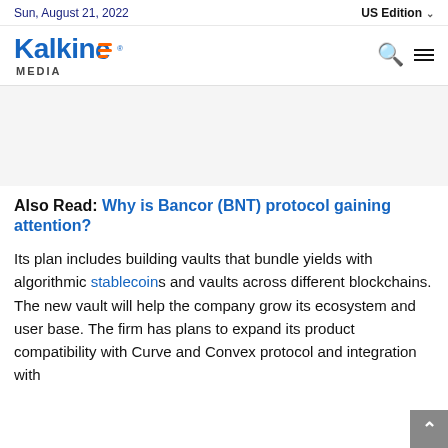Sun, August 21, 2022 | US Edition
[Figure (logo): Kalkine Media logo — blue bold text 'Kalkine' with orange stylized 'e', and 'MEDIA' subtitle in dark gray]
Also Read: Why is Bancor (BNT) protocol gaining attention?
Its plan includes building vaults that bundle yields with algorithmic stablecoins and vaults across different blockchains. The new vault will help the company grow its ecosystem and user base. The firm has plans to expand its product compatibility with Curve and Convex protocol and integration with